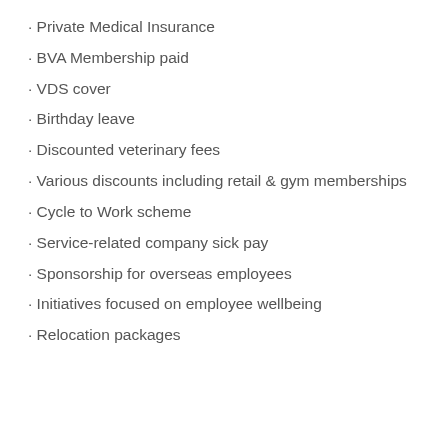· Private Medical Insurance
· BVA Membership paid
· VDS cover
· Birthday leave
· Discounted veterinary fees
· Various discounts including retail & gym memberships
· Cycle to Work scheme
· Service-related company sick pay
· Sponsorship for overseas employees
· Initiatives focused on employee wellbeing
· Relocation packages